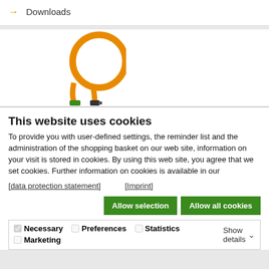→ Downloads
[Figure (photo): An orange fiber optic cable coiled in a circle with green connectors at the bottom]
This website uses cookies
To provide you with user-defined settings, the reminder list and the administration of the shopping basket on our web site, information on your visit is stored in cookies. By using this web site, you agree that we set cookies. Further information on cookies is available in our
[data protection statement]   [Imprint]
Allow selection   Allow all cookies
✓ Necessary   Preferences   Statistics   Marketing   Show details ˅